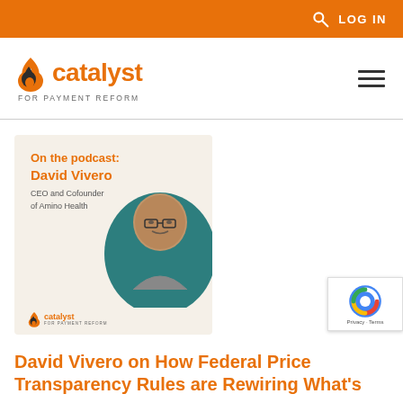LOG IN
[Figure (logo): Catalyst for Payment Reform logo with flame icon and orange text]
[Figure (photo): Podcast card featuring David Vivero, CEO and Cofounder of Amino Health, with his photo in a teal circular frame on a beige background, with Catalyst for Payment Reform branding]
David Vivero on How Federal Price Transparency Rules are Rewiring What's